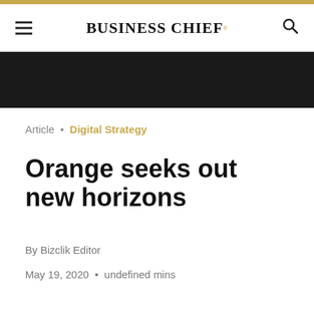BUSINESS CHIEF°
Article • Digital Strategy
Orange seeks out new horizons
By Bizclik Editor
May 19, 2020 • undefined mins